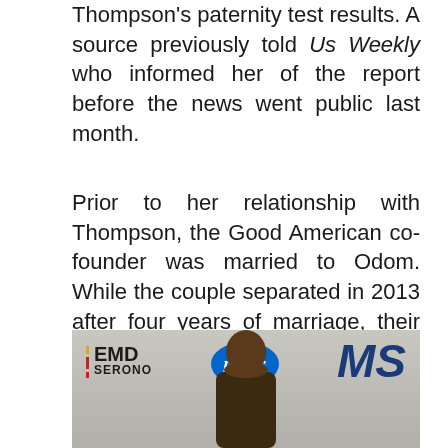Kardashian, for his part, has yet to react to Thompson's paternity test results. A source previously told Us Weekly who informed her of the report before the news went public last month.
Prior to her relationship with Thompson, the Good American co-founder was married to Odom. While the couple separated in 2013 after four years of marriage, their divorce wasn't finalized until 2016 when Kardashian temporarily withdrew his petition to care for the former athlete following his 2015 overdose.
[Figure (photo): Photo of a man at an event with EMD Serono, Pfizer, and MS logos visible on a step-and-repeat backdrop]